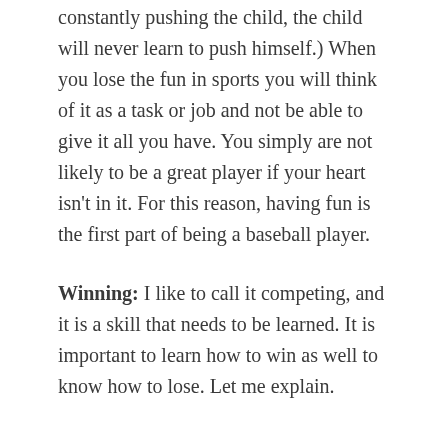constantly pushing the child, the child will never learn to push himself.) When you lose the fun in sports you will think of it as a task or job and not be able to give it all you have. You simply are not likely to be a great player if your heart isn't in it. For this reason, having fun is the first part of being a baseball player.
Winning: I like to call it competing, and it is a skill that needs to be learned. It is important to learn how to win as well to know how to lose. Let me explain.